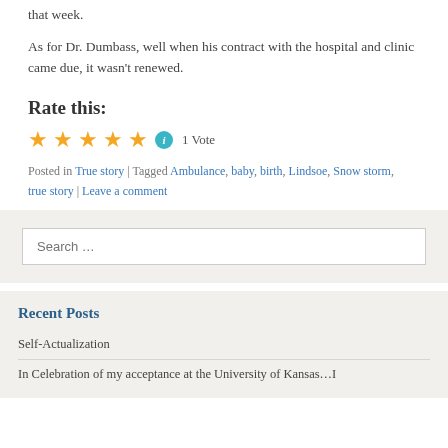that week.
As for Dr. Dumbass, well when his contract with the hospital and clinic came due, it wasn't renewed.
Rate this:
★★★★★ ℹ 1 Vote
Posted in True story | Tagged Ambulance, baby, birth, Lindsoe, Snow storm, true story | Leave a comment
Search …
Recent Posts
Self-Actualization
In Celebration of my acceptance at the University of Kansas…I